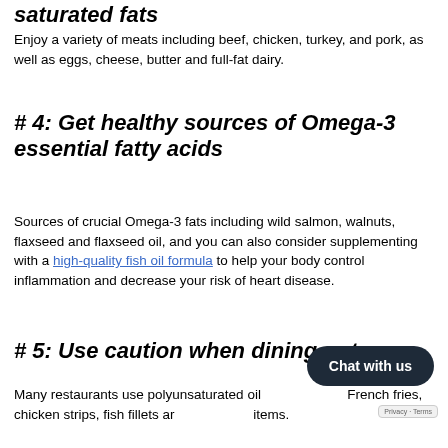saturated fats
Enjoy a variety of meats including beef, chicken, turkey, and pork, as well as eggs, cheese, butter and full-fat dairy.
# 4:  Get healthy sources of Omega-3 essential fatty acids
Sources of crucial Omega-3 fats including wild salmon, walnuts, flaxseed and flaxseed oil, and you can also consider supplementing with a high-quality fish oil formula to help your body control inflammation and decrease your risk of heart disease.
# 5:  Use caution when dining out
Many restaurants use polyunsaturated oil French fries, chicken strips, fish fillets ar items.